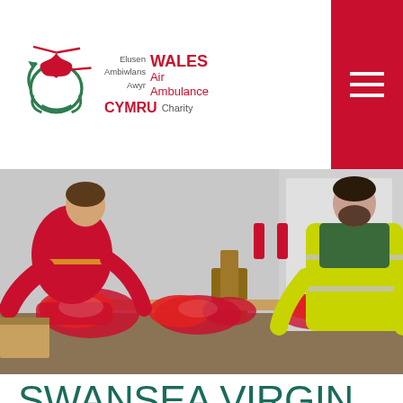[Figure (logo): Wales Air Ambulance Charity logo with stylised helicopter/kite graphic in red and green, and bilingual text: Elusen Ambiwlans Awyr CYMRU / WALES Air Ambulance Charity]
[Figure (photo): Two workers unpacking red clothing/garments from plastic bags onto a table. One worker wears a red high-visibility vest, the other wears a yellow high-visibility vest.]
SWANSEA VIRGIN MEDIA HELP TO RAISE LIFESAVING